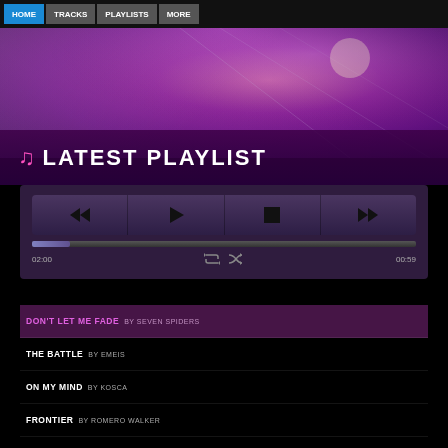LATEST PLAYLIST
[Figure (screenshot): Music player interface with concert background, player controls (rewind, play, stop, fast-forward), progress bar showing 02:00 / 00:59, repeat and shuffle icons]
DON'T LET ME FADE BY SEVEN SPIDERS
THE BATTLE BY EMEIS
ON MY MIND BY KOSCA
FRONTIER BY ROMERO WALKER
THE GREAT ESCAPE BY ROMERO WALKER
LIVE AGAIN BY ROMERO WALKER
ICED EARTH BY ROMERO WALKER
FIRE EYES BY ROMERO WALKER
PASS THE TORCH BY ROMERO WALKER